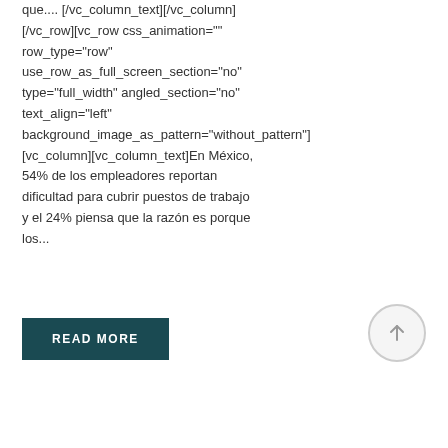que.... [/vc_column_text][/vc_column][/vc_row][vc_row css_animation="" row_type="row" use_row_as_full_screen_section="no" type="full_width" angled_section="no" text_align="left" background_image_as_pattern="without_pattern"][vc_column][vc_column_text]En México, 54% de los empleadores reportan dificultad para cubrir puestos de trabajo y el 24% piensa que la razón es porque los...
READ MORE